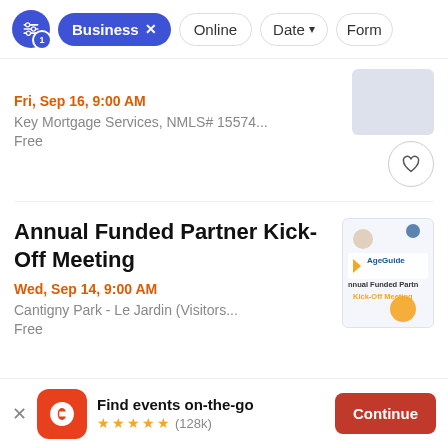Filter bar: Business × | Online | Date ▾ | Form
Fri, Sep 16, 9:00 AM
Key Mortgage Services, NMLS# 15574...
Free
Annual Funded Partner Kick-Off Meeting
Wed, Sep 14, 9:00 AM
Cantigny Park - Le Jardin (Visitors...
Free
Find events on-the-go ★★★★★ (128k)